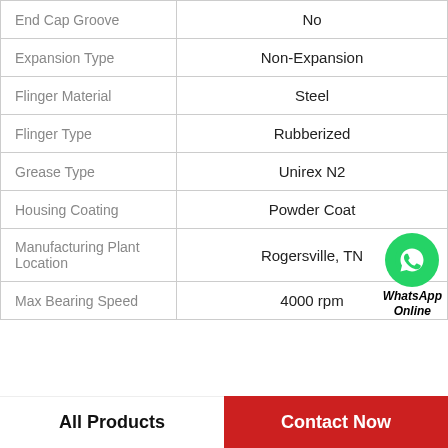| Property | Value |
| --- | --- |
| End Cap Groove | No |
| Expansion Type | Non-Expansion |
| Flinger Material | Steel |
| Flinger Type | Rubberized |
| Grease Type | Unirex N2 |
| Housing Coating | Powder Coat |
| Manufacturing Plant Location | Rogersville, TN |
| Max Bearing Speed | 4000 rpm |
[Figure (logo): WhatsApp Online green phone badge with bold italic text 'WhatsApp Online']
All Products
Contact Now